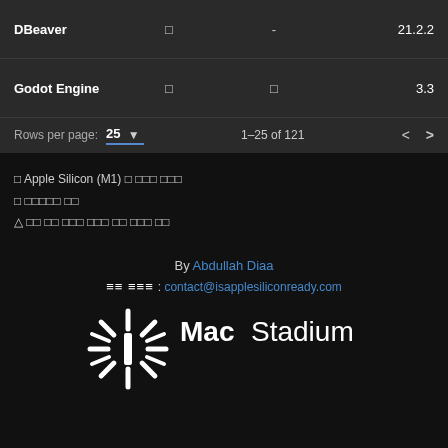| Name |  |  | Version |
| --- | --- | --- | --- |
| DBeaver | □ | - | 21.2.2 |
| Godot Engine | □ | □ | 3.3 |
Rows per page: 25 ▼   1-25 of 121   < >
□ Apple Silicon (M1) □ □□□ □□□
□ □□□□□ □□
△ □□ □□ □□□ □□□ □□ □□□ □□
By Abdullah Diaa
contact@isapplesiliconready.com
[Figure (logo): MacStadium logo with starburst/sunburst icon on the left and 'MacStadium' wordmark in white]